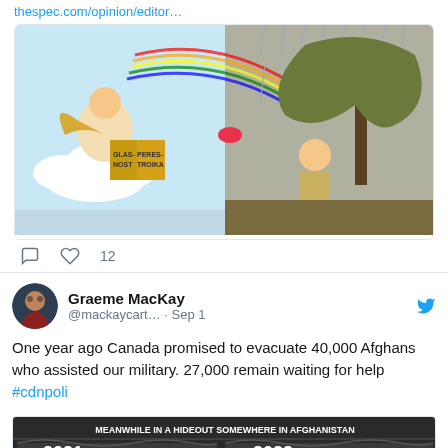thespec.com/opinion/editor…
[Figure (illustration): Political cartoon showing an angel figure with wings holding a box labeled 'GLASNOST' and 'PERESTROIKA' in clouds with a rainbow, and a shirtless Putin-like figure sitting against a tree in the rain on the right side]
12 (likes)
Graeme MacKay @mackaycart… · Sep 1
One year ago Canada promised to evacuate 40,000 Afghans who assisted our military. 27,000 remain waiting for help #cdnpoli
[Figure (illustration): Political cartoon header reading 'MEANWHILE IN A HIDEOUT SOMEWHERE IN AFGHANISTAN' with panels labeled 2021 and 2022 showing Canada]